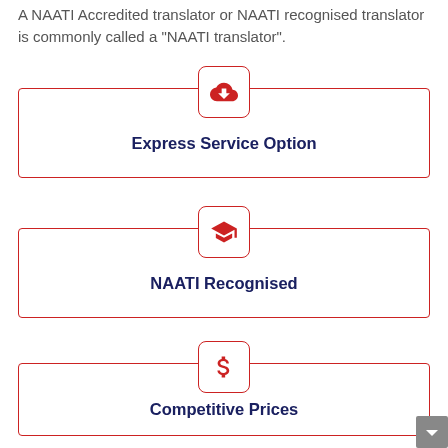A NAATI Accredited translator or NAATI recognised translator is commonly called a “NAATI translator”.
[Figure (infographic): Icon card with a red cloud download icon and label 'Express Service Option']
[Figure (infographic): Icon card with a red graduation cap icon and label 'NAATI Recognised']
[Figure (infographic): Icon card with a red dollar sign icon and label 'Competitive Prices']